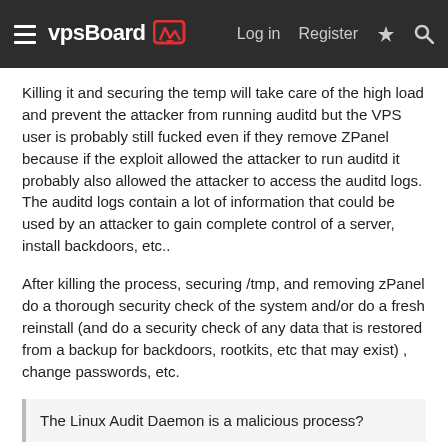vpsBoard — Log in  Register
Killing it and securing the temp will take care of the high load and prevent the attacker from running auditd but the VPS user is probably still fucked even if they remove ZPanel because if the exploit allowed the attacker to run auditd it probably also allowed the attacker to access the auditd logs. The auditd logs contain a lot of information that could be used by an attacker to gain complete control of a server, install backdoors, etc..
After killing the process, securing /tmp, and removing zPanel do a thorough security check of the system and/or do a fresh reinstall (and do a security check of any data that is restored from a backup for backdoors, rootkits, etc that may exist) , change passwords, etc.
The Linux Audit Daemon is a malicious process?
Auditd is a tool used for system administration, but in the...